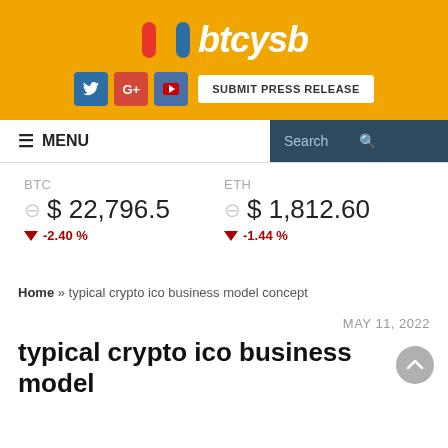[Figure (logo): btcysb website logo with colorful icon and orange banner background]
≡ MENU   Search
BTC
$ 22,796.5
▼ -2.40 %
ETH
$ 1,812.60
▼ -1.44 %
Home » typical crypto ico business model concept
MAY 11, 2022
typical crypto ico business model